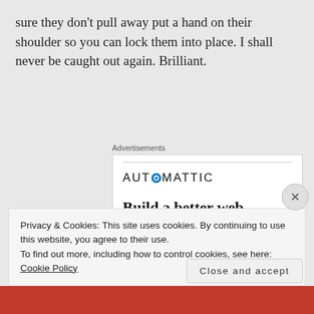sure they don't pull away put a hand on their shoulder so you can lock them into place. I shall never be caught out again. Brilliant.
Advertisements
[Figure (screenshot): Automattic advertisement showing logo with circular icon, headline 'Build a better web and a better world.' and a blue Apply button, with a photo of a smiling person in the bottom right.]
Privacy & Cookies: This site uses cookies. By continuing to use this website, you agree to their use.
To find out more, including how to control cookies, see here: Cookie Policy
Close and accept